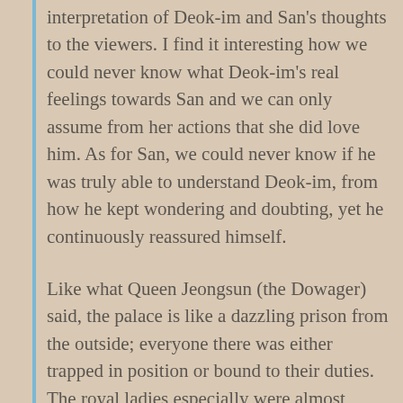interpretation of Deok-im and San's thoughts to the viewers. I find it interesting how we could never know what Deok-im's real feelings towards San and we can only assume from her actions that she did love him. As for San, we could never know if he was truly able to understand Deok-im, from how he kept wondering and doubting, yet he continuously reassured himself.
Like what Queen Jeongsun (the Dowager) said, the palace is like a dazzling prison from the outside; everyone there was either trapped in position or bound to their duties. The royal ladies especially were almost powerless despite their high position, and the court maids could only wager their lives as they serve their masters.